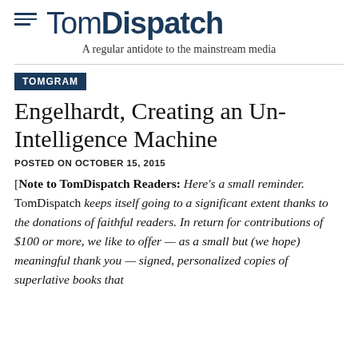TomDispatch — A regular antidote to the mainstream media
TOMGRAM
Engelhardt, Creating an Un-Intelligence Machine
POSTED ON OCTOBER 15, 2015
[Note to TomDispatch Readers: Here's a small reminder. TomDispatch keeps itself going to a significant extent thanks to the donations of faithful readers. In return for contributions of $100 or more, we like to offer — as a small but (we hope) meaningful thank you — signed, personalized copies of superlative books that